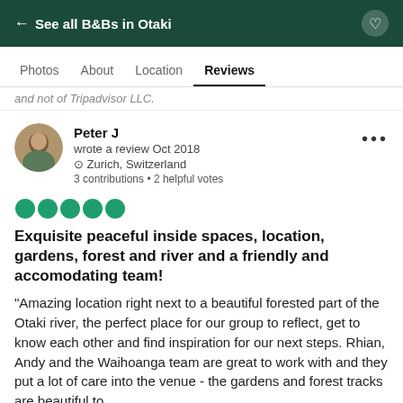← See all B&Bs in Otaki
Photos  About  Location  Reviews
and not of Tripadvisor LLC.
Peter J
wrote a review Oct 2018
Zurich, Switzerland
3 contributions • 2 helpful votes
[Figure (other): Five green filled circles representing a 5-bubble rating (full score)]
Exquisite peaceful inside spaces, location, gardens, forest and river and a friendly and accomodating team!
“Amazing location right next to a beautiful forested part of the Otaki river, the perfect place for our group to reflect, get to know each other and find inspiration for our next steps. Rhian, Andy and the Waihoanga team are great to work with and they put a lot of care into the venue - the gardens and forest tracks are beautiful to